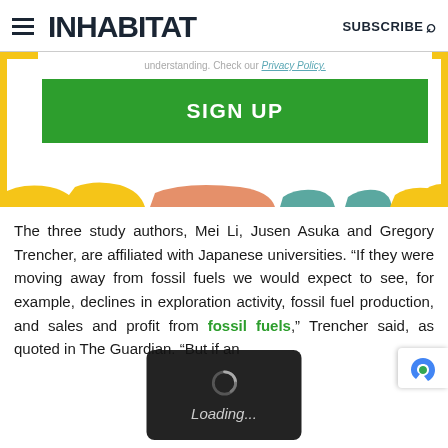INHABIT SUBSCRIBE
[Figure (screenshot): Sign-up widget with yellow border frame, privacy policy link, and green SIGN UP button]
The three study authors, Mei Li, Jusen Asuka and Gregory Trencher, are affiliated with Japanese universities. “If they were moving away from fossil fuels we would expect to see, for example, declines in exploration activity, fossil fuel production, and sales and profit from fossil fuels,” Trencher said, as quoted in The Guardian. “But if an…